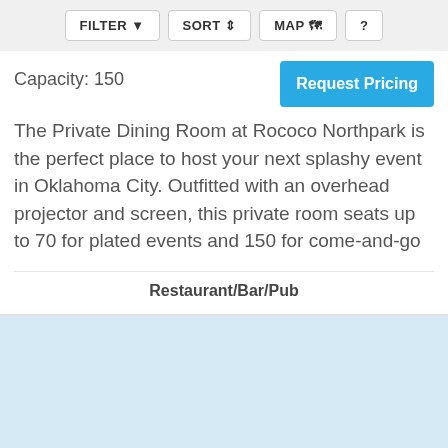FILTER  SORT  MAP  ?
Capacity: 150
Request Pricing
The Private Dining Room at Rococo Northpark is the perfect place to host your next splashy event in Oklahoma City. Outfitted with an overhead projector and screen, this private room seats up to 70 for plated events and 150 for come-and-go
Restaurant/Bar/Pub
[Figure (map): Light blue map area at the bottom of the page]